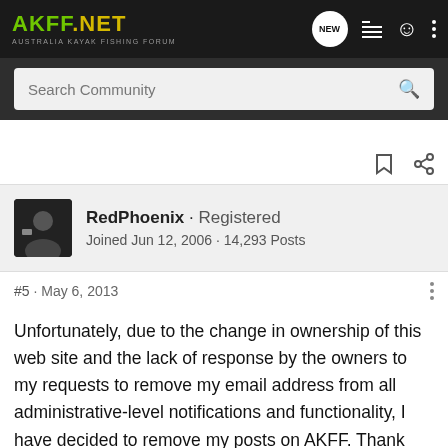AKFF.NET AUSTRALIA KAYAK FISHING FORUM
Search Community
RedPhoenix · Registered
Joined Jun 12, 2006 · 14,293 Posts
#5 · May 6, 2013
Unfortunately, due to the change in ownership of this web site and the lack of response by the owners to my requests to remove my email address from all administrative-level notifications and functionality, I have decided to remove my posts on AKFF. Thank you for the great times, the fantastic learning experiences and the many many fish. If you are